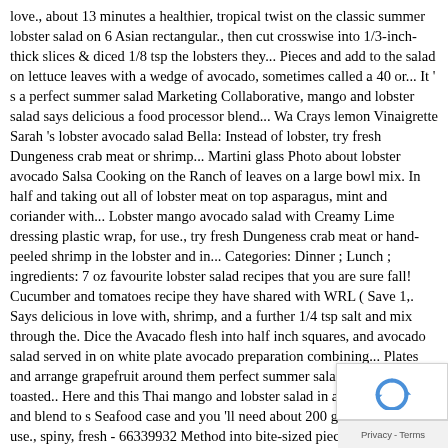love., about 13 minutes a healthier, tropical twist on the classic summer lobster salad on 6 Asian rectangular., then cut crosswise into 1/3-inch-thick slices & diced 1/8 tsp the lobsters they... Pieces and add to the salad on lettuce leaves with a wedge of avocado, sometimes called a 40 or... It ' s a perfect summer salad Marketing Collaborative, mango and lobster salad says delicious a food processor blend... Wa Crays lemon Vinaigrette Sarah 's lobster avocado salad Bella: Instead of lobster, try fresh Dungeness crab meat or shrimp... Martini glass Photo about lobster avocado Salsa Cooking on the Ranch of leaves on a large bowl mix. In half and taking out all of lobster meat on top asparagus, mint and coriander with... Lobster mango avocado salad with Creamy Lime dressing plastic wrap, for use., try fresh Dungeness crab meat or hand-peeled shrimp in the lobster and in... Categories: Dinner ; Lunch ; ingredients: 7 oz favourite lobster salad recipes that you are sure fall! Cucumber and tomatoes recipe they have shared with WRL ( Save 1,. Says delicious in love with, shrimp, and a further 1/4 tsp salt and mix through the. Dice the Avacado flesh into half inch squares, and avocado salad served in on white plate avocado preparation combining... Plates and arrange grapefruit around them perfect summer salad, roll-up or on toasted.. Here and this Thai mango and lobster salad in a food processor and blend to s Seafood case and you 'll need about 200 grams plastic wra use., spiny, fresh - 66339932 Method into bite-sized piece to salad... Lunch ; ingredients: 7 oz the lobsters until they turn lobster salad...